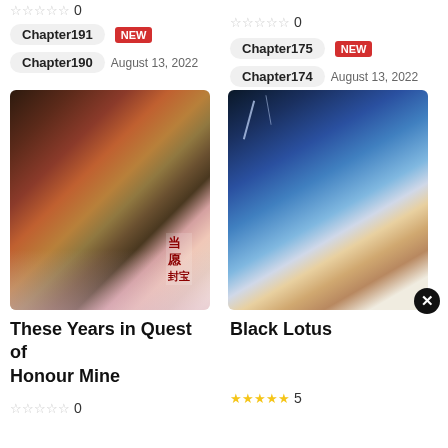★★★★★ 0
Chapter191 NEW
Chapter190 August 13, 2022
★★★★★ 0
Chapter175 NEW
Chapter174 August 13, 2022
[Figure (illustration): Manga cover art showing two characters in traditional Chinese style clothing with cherry blossoms, with Chinese text at bottom right]
[Figure (illustration): Manga cover art showing two male characters, one with dark hair and one with light hair, against a stormy blue sky background]
These Years in Quest of Honour Mine
Black Lotus
★★★★★ 0
★★★★★ 5